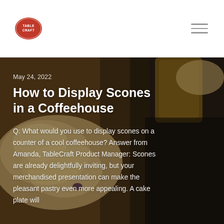[Figure (logo): TableCraft red oval logo with white text]
Navigation bar with logo and hamburger menu
[Figure (photo): Close-up overhead photo of scones on a dark slate surface with a wooden board, warm brown tones]
May 24, 2022
How to Display Scones in a Coffeehouse
Q: What would you use to display scones on a counter of a cool coffeehouse? Answer from Amanda, TableCraft Product Manager: Scones are already delightfully inviting, but your merchandised presentation can make the pleasant pastry even more appealing. A cake plate will